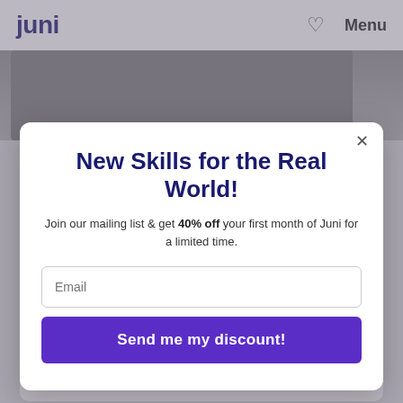juni | Menu
[Figure (screenshot): Screenshot of Juni Learning website with a modal popup offering 40% off for joining the mailing list]
New Skills for the Real World!
Join our mailing list & get 40% off your first month of Juni for a limited time.
Email input field
Send me my discount!
and business. Your child can start now by learning programmin...
Ages 12-18  |  Meets weekly  |  Private 1:1